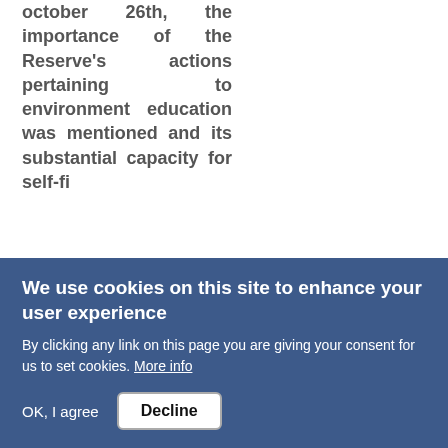october 26th, the importance of the Reserve's actions pertaining to environment education was mentioned and its substantial capacity for self-fi...
We use cookies on this site to enhance your user experience
By clicking any link on this page you are giving your consent for us to set cookies. More info
OK, I agree   Decline